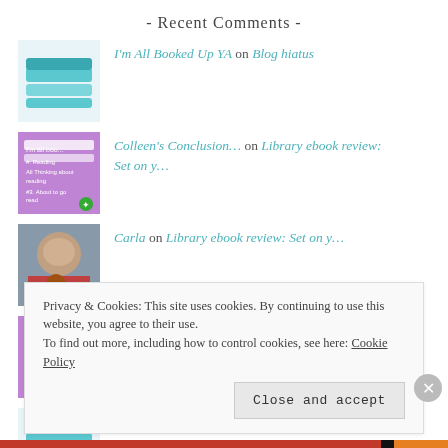- Recent Comments -
I'm All Booked Up YA on Blog hiatus
Colleen's Conclusion… on Library ebook review: Set on y…
Carla on Library ebook review: Set on y…
Colleen's Conclusion… on eARC review: Places we'v…
I'm All Booked Up YA on eARC review: Places we'v…
Privacy & Cookies: This site uses cookies. By continuing to use this website, you agree to their use. To find out more, including how to control cookies, see here: Cookie Policy
Close and accept